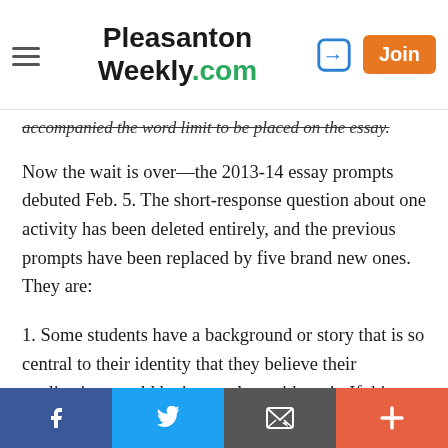Pleasanton Weekly.com
accompanied the word limit to be placed on the essay.
Now the wait is over—the 2013-14 essay prompts debuted Feb. 5. The short-response question about one activity has been deleted entirely, and the previous prompts have been replaced by five brand new ones. They are:
1. Some students have a background or story that is so central to their identity that they believe their application would be incomplete without it. If this sounds like you, then please share your story.
2. Recount an incident or time when you experienced